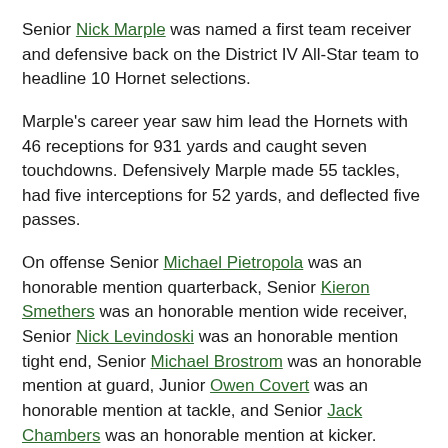Senior Nick Marple was named a first team receiver and defensive back on the District IV All-Star team to headline 10 Hornet selections.
Marple's career year saw him lead the Hornets with 46 receptions for 931 yards and caught seven touchdowns. Defensively Marple made 55 tackles, had five interceptions for 52 yards, and deflected five passes.
On offense Senior Michael Pietropola was an honorable mention quarterback, Senior Kieron Smethers was an honorable mention wide receiver, Senior Nick Levindoski was an honorable mention tight end, Senior Michael Brostrom was an honorable mention at guard, Junior Owen Covert was an honorable mention at tackle, and Senior Jack Chambers was an honorable mention at kicker.